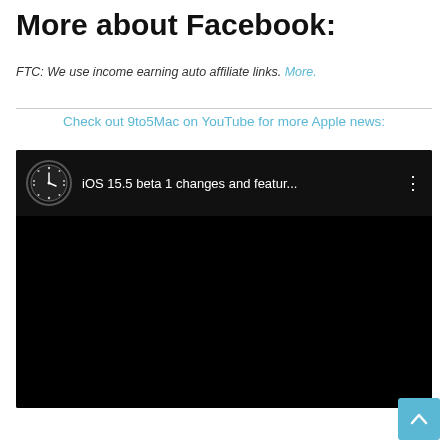More about Facebook:
FTC: We use income earning auto affiliate links. More.
Check out 9to5Mac on YouTube for more Apple news:
[Figure (screenshot): YouTube video embed showing 'iOS 15.5 beta 1 changes and featur...' with a clock-style channel icon on a black background]